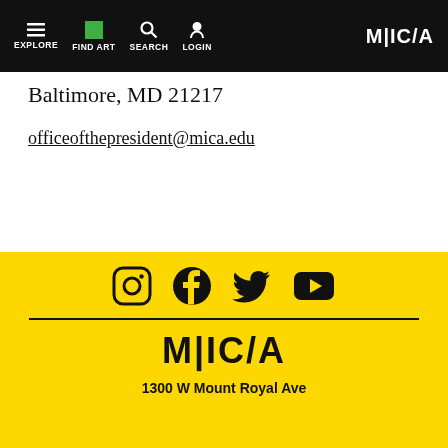[Figure (screenshot): MICA website navigation bar with EXPLORE, FIND ART, SEARCH, LOGIN links and MICA logo on black background]
Baltimore, MD 21217
officeofthepresident@mica.edu
[Figure (infographic): Yellow footer area with social media icons for Instagram, Facebook, Twitter, YouTube, a horizontal divider, MICA logo, and address text: 1300 W Mount Royal Ave]
1300 W Mount Royal Ave